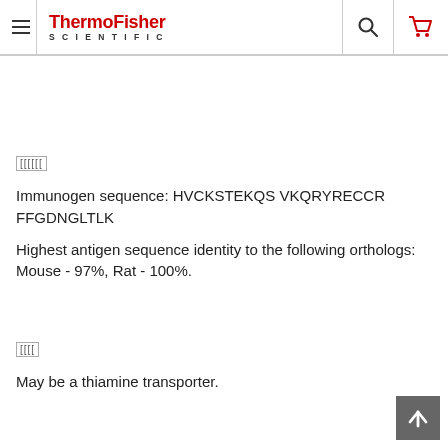[Figure (logo): ThermoFisher Scientific website header with hamburger menu, logo, search icon, and cart icon]
[encoded label]
Immunogen sequence: HVCKSTEKQS VKQRYRECCR FFGDNGLTLK
Highest antigen sequence identity to the following orthologs: Mouse - 97%, Rat - 100%.
[encoded label]
May be a thiamine transporter.